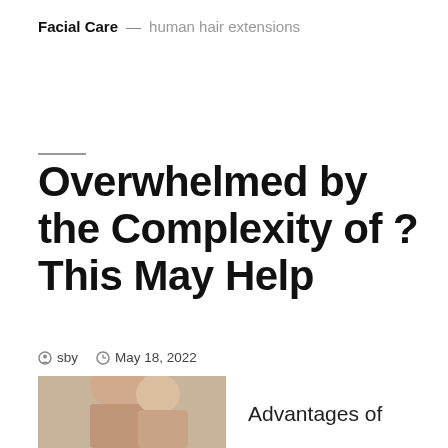Facial Care — human hair extensions
Overwhelmed by the Complexity of ? This May Help
sby   May 18, 2022
[Figure (photo): Portrait photo of a person, partially visible at bottom left]
Advantages of